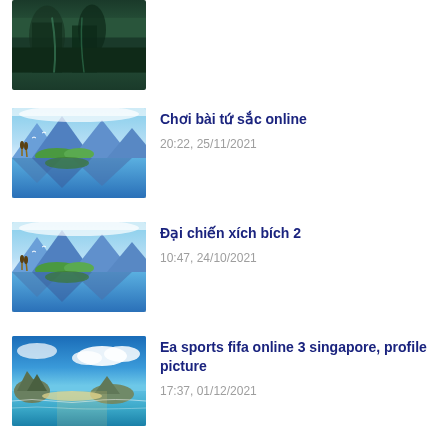[Figure (photo): Partial thumbnail of dark cave or waterfall scene at top of page]
[Figure (illustration): Mountain lake reflection painting with blue tones]
Chơi bài tứ sắc online
20:22, 25/11/2021
[Figure (illustration): Mountain lake reflection painting with blue tones]
Đại chiến xích bích 2
10:47, 24/10/2021
[Figure (photo): Tropical island and sea with turquoise water]
Ea sports fifa online 3 singapore, profile picture
17:37, 01/12/2021
[Figure (photo): Sunrise or sunset landscape with golden sky]
Các nhân vật trong sword art online